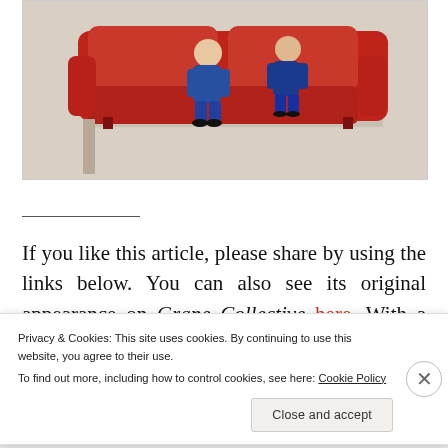[Figure (photo): Photo of two figurines (one in blue jeans, one in blue outfit) sitting on a red leather sofa/couch on a light wooden surface]
If you like this article, please share by using the links below. You can also see its original appearance on Grape Collective here. With a focus on less-travelled wine areas, the engaging articles and videos make the site well worth checking out. I'm hugely excited to be
Privacy & Cookies: This site uses cookies. By continuing to use this website, you agree to their use.
To find out more, including how to control cookies, see here: Cookie Policy
Close and accept